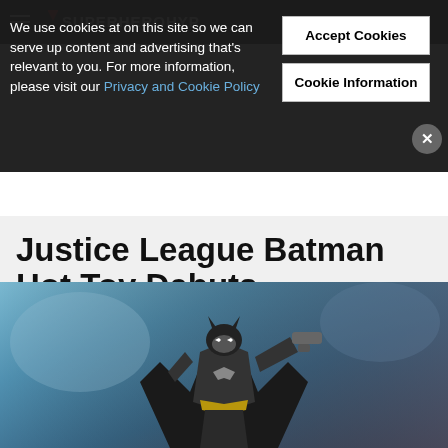SuperHeroHype
We use cookies at on this site so we can serve up content and advertising that's relevant to you. For more information, please visit our Privacy and Cookie Policy
Justice League Batman Hot Toy Debuts
SPENCER PERRY
THURSDAY, DECEMBER 07, 2017
[Figure (photo): Batman Hot Toy figure in Justice League costume, holding a weapon, in dramatic blue-tinted lighting]